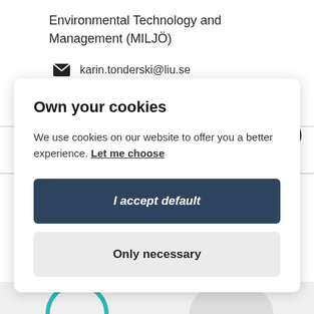Environmental Technology and Management (MILJÖ)
karin.tonderski@liu.se
+46 13 28 44 67
Own your cookies
We use cookies on our website to offer you a better experience. Let me choose
I accept default
Only necessary